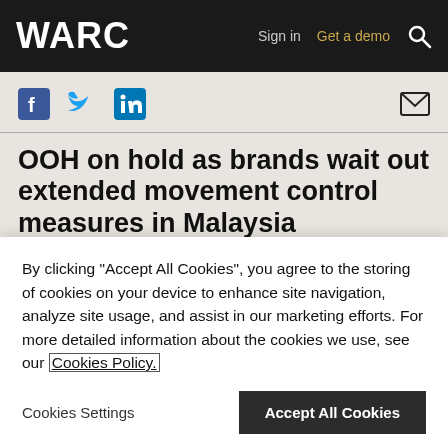WARC  Sign in  Get a demo  🔍
[Figure (other): Social share icons: Facebook, Twitter, LinkedIn, and email envelope]
OOH on hold as brands wait out extended movement control measures in Malaysia
2 min read   News, 01/04/2020
With the Movement Control Order (MCO)
By clicking "Accept All Cookies", you agree to the storing of cookies on your device to enhance site navigation, analyze site usage, and assist in our marketing efforts. For more detailed information about the cookies we use, see our Cookies Policy.
Cookies Settings   Accept All Cookies